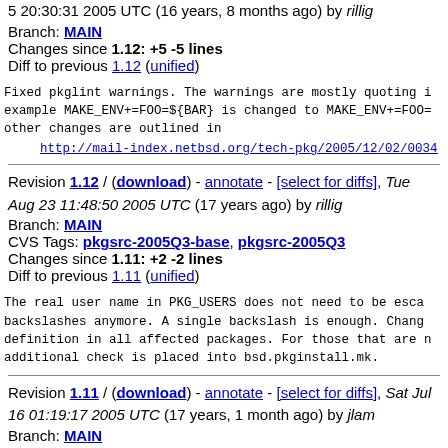5 20:30:31 2005 UTC (16 years, 8 months ago) by rillig
Branch: MAIN
Changes since 1.12: +5 -5 lines
Diff to previous 1.12 (unified)
Fixed pkglint warnings. The warnings are mostly quoting i example MAKE_ENV+=FOO=${BAR} is changed to MAKE_ENV+=FOO= other changes are outlined in
http://mail-index.netbsd.org/tech-pkg/2005/12/02/0034
Revision 1.12 / (download) - annotate - [select for diffs], Tue Aug 23 11:48:50 2005 UTC (17 years ago) by rillig
Branch: MAIN
CVS Tags: pkgsrc-2005Q3-base, pkgsrc-2005Q3
Changes since 1.11: +2 -2 lines
Diff to previous 1.11 (unified)
The real user name in PKG_USERS does not need to be esca backslashes anymore. A single backslash is enough. Chang definition in all affected packages. For those that are n additional check is placed into bsd.pkginstall.mk.
Revision 1.11 / (download) - annotate - [select for diffs], Sat Jul 16 01:19:17 2005 UTC (17 years, 1 month ago) by jlam
Branch: MAIN